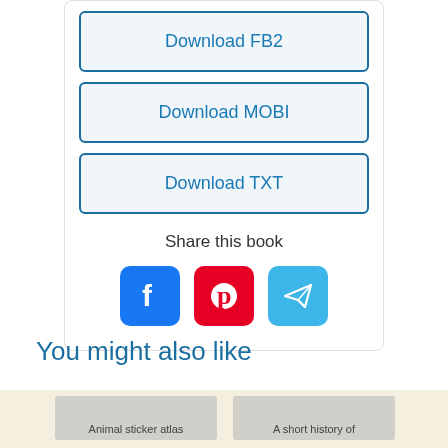[Figure (screenshot): Download buttons: Download FB2, Download MOBI, Download TXT, then Share this book section with Facebook, Pinterest, and Telegram icons]
Share this book
You might also like
Animal sticker atlas
A short history of